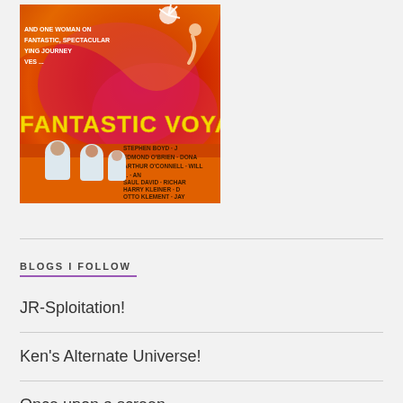[Figure (illustration): Movie poster for 'Fantastic Voyage' showing science fiction imagery with characters in white suits against a red swirling background, text partially visible]
BLOGS I FOLLOW
JR-Sploitation!
Ken's Alternate Universe!
Once upon a screen...